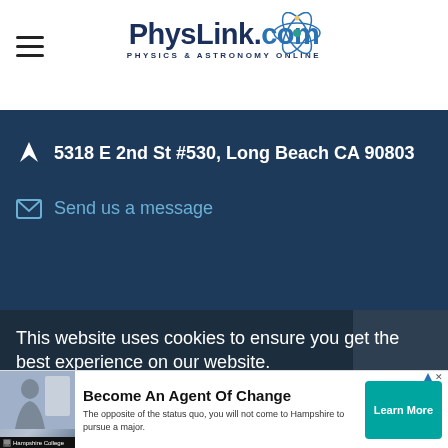PhysLink.com — Physics & Astronomy Online
5318 E 2nd St #530, Long Beach CA 90803
Send us a message
This website uses cookies to ensure you get the best experience on our website.
Learn more
[Figure (photo): Advertisement photo of a person in a classroom or lab setting]
Hampshire College
Become An Agent Of Change
The opposite of the status quo, you will not come to Hampshire to pursue a major.
Learn More